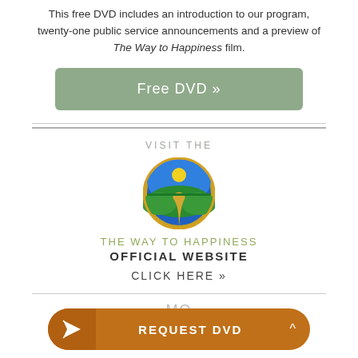This free DVD includes an introduction to our program, twenty-one public service announcements and a preview of The Way to Happiness film.
[Figure (other): Green button labeled 'Free DVD »']
VISIT THE
[Figure (logo): The Way to Happiness circular logo — blue sky, yellow sun, green hills, golden path]
THE WAY TO HAPPINESS OFFICIAL WEBSITE
CLICK HERE »
MO...
for Educators
[Figure (other): Orange pill-shaped button with arrow icon and text 'REQUEST DVD ^']